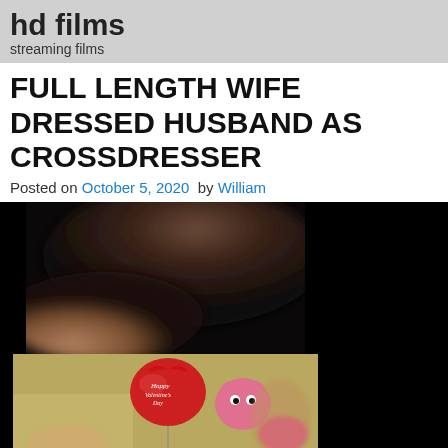hd films
streaming films
FULL LENGTH WIFE DRESSED HUSBAND AS CROSSDRESSER
Posted on October 5, 2020 by William
[Figure (photo): Blurry dark close-up photo (top thumbnail)]
[Figure (photo): Photo showing a person holding a red heart-shaped 'Happy Valentine's Day' balloon and a pink stuffed animal]